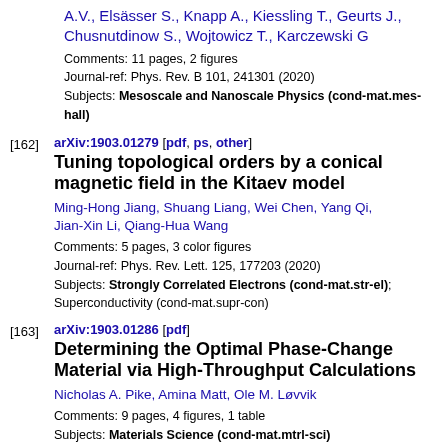A.V., Elsässer S., Knapp A., Kiessling T., Geurts J., Chusnutdinow S., Wojtowicz T., Karczewski G
Comments: 11 pages, 2 figures
Journal-ref: Phys. Rev. B 101, 241301 (2020)
Subjects: Mesoscale and Nanoscale Physics (cond-mat.mes-hall)
[162] arXiv:1903.01279 [pdf, ps, other]
Tuning topological orders by a conical magnetic field in the Kitaev model
Ming-Hong Jiang, Shuang Liang, Wei Chen, Yang Qi, Jian-Xin Li, Qiang-Hua Wang
Comments: 5 pages, 3 color figures
Journal-ref: Phys. Rev. Lett. 125, 177203 (2020)
Subjects: Strongly Correlated Electrons (cond-mat.str-el); Superconductivity (cond-mat.supr-con)
[163] arXiv:1903.01286 [pdf]
Determining the Optimal Phase-Change Material via High-Throughput Calculations
Nicholas A. Pike, Amina Matt, Ole M. Løvvik
Comments: 9 pages, 4 figures, 1 table
Subjects: Materials Science (cond-mat.mtrl-sci)